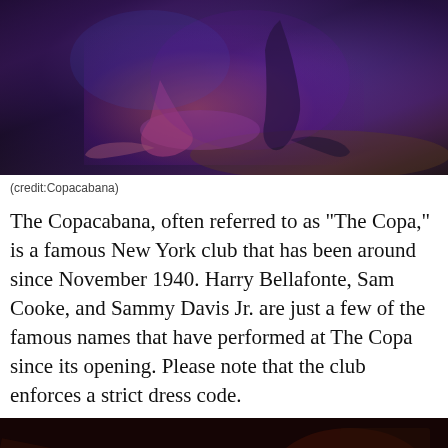[Figure (photo): Two dancers performing at the Copacabana club, with purple and blue stage lighting, one dancer bent low to the ground in a dramatic pose]
(credit:Copacabana)
The Copacabana, often referred to as "The Copa," is a famous New York club that has been around since November 1940. Harry Bellafonte, Sam Cooke, and Sammy Davis Jr. are just a few of the famous names that have performed at The Copa since its opening. Please note that the club enforces a strict dress code.
[Figure (photo): Dark interior shot of the Copacabana club showing patrons seated, with dim warm reddish lighting]